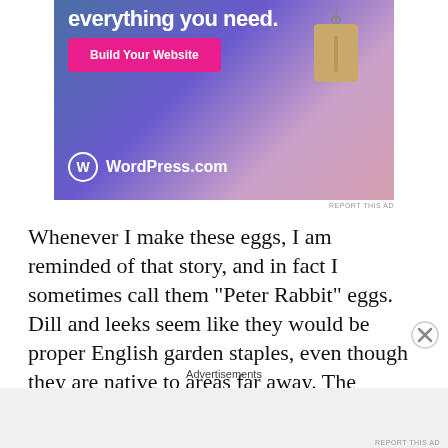[Figure (screenshot): WordPress.com advertisement banner with gradient blue-purple-pink background, 'Build Your Website' pink button, hanging price tag graphic, and WordPress.com logo at bottom left]
REPORT THIS AD
Whenever I make these eggs, I am reminded of that story, and in fact I sometimes call them “Peter Rabbit” eggs.  Dill and leeks seem like they would be proper English garden staples, even though they are native to areas far away. The addition of feta is soooo not English, but
Advertisements
REPORT THIS AD